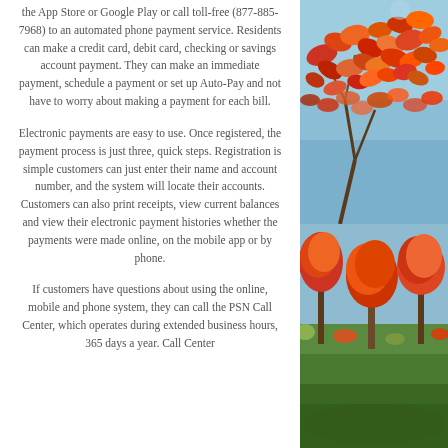the App Store or Google Play or call toll-free (877-885-7968) to an automated phone payment service. Residents can make a credit card, debit card, checking or savings account payment. They can make an immediate payment, schedule a payment or set up Auto-Pay and not have to worry about making a payment for each bill.
Electronic payments are easy to use. Once registered, the payment process is just three, quick steps. Registration is simple customers can just enter their name and account number, and the system will locate their accounts. Customers can also print receipts, view current balances and view their electronic payment histories whether the payments were made online, on the mobile app or by phone.
If customers have questions about using the online, mobile and phone system, they can call the PSN Call Center, which operates during extended business hours, 365 days a year. Call Center
[Figure (photo): Two-panel autumn photo: top panel shows red and orange maple leaves against a blue sky; bottom panel shows autumn trees with red and orange foliage in a green park landscape.]